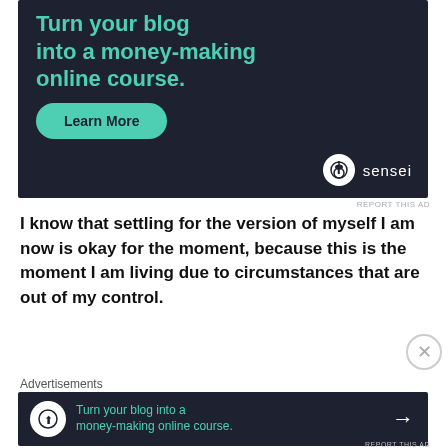[Figure (infographic): Advertisement banner with dark background (#1e2130). Teal text reads 'Turn your blog into a money-making online course.' with a teal 'Learn More' button and a Sensei logo in the bottom right.]
REPORT THIS AD
I know that settling for the version of myself I am now is okay for the moment, because this is the moment I am living due to circumstances that are out of my control.
Advertisements
[Figure (infographic): Small advertisement banner with dark background. Sensei logo icon on left, teal text reads 'Turn your blog into a money-making online course.' with a white arrow on the right.]
REPORT THIS AD